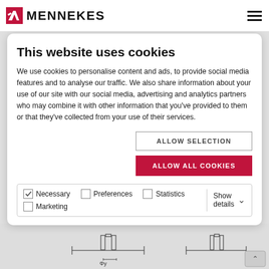MENNEKES
This website uses cookies
We use cookies to personalise content and ads, to provide social media features and to analyse our traffic. We also share information about your use of our site with our social media, advertising and analytics partners who may combine it with other information that you've provided to them or that they've collected from your use of their services.
ALLOW SELECTION
ALLOW ALL COOKIES
Necessary  Preferences  Statistics  Show details  Marketing
[Figure (engineering-diagram): Technical engineering drawing showing connector cross-sections with dimension markers including Φy label]